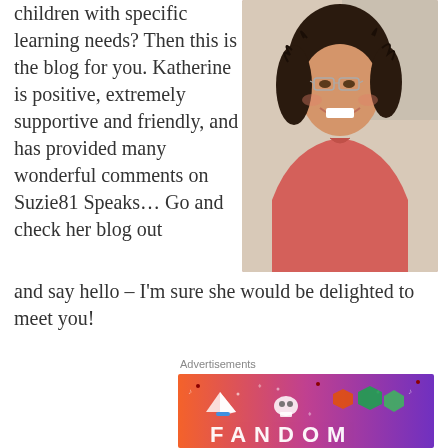children with specific learning needs? Then this is the blog for you. Katherine is positive, extremely supportive and friendly, and has provided many wonderful comments on Suzie81 Speaks… Go and check her blog out and say hello – I'm sure she would be delighted to meet you!
[Figure (photo): Photo of a smiling woman with curly dark hair and glasses, wearing a salmon/coral colored top]
Advertisements
[Figure (illustration): Fandom advertisement banner with colorful gradient background (orange to purple) featuring icons like a sailboat, skull, dice, and the word FANDOM in large letters]